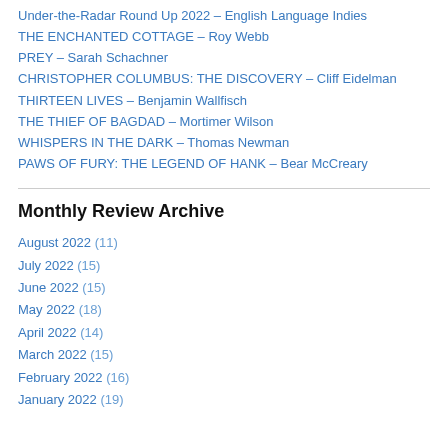Under-the-Radar Round Up 2022 – English Language Indies
THE ENCHANTED COTTAGE – Roy Webb
PREY – Sarah Schachner
CHRISTOPHER COLUMBUS: THE DISCOVERY – Cliff Eidelman
THIRTEEN LIVES – Benjamin Wallfisch
THE THIEF OF BAGDAD – Mortimer Wilson
WHISPERS IN THE DARK – Thomas Newman
PAWS OF FURY: THE LEGEND OF HANK – Bear McCreary
Monthly Review Archive
August 2022 (11)
July 2022 (15)
June 2022 (15)
May 2022 (18)
April 2022 (14)
March 2022 (15)
February 2022 (16)
January 2022 (19)